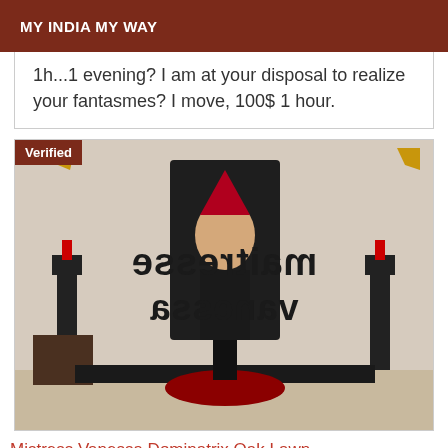MY INDIA MY WAY
1h...1 evening? I am at your disposal to realize your fantasmes? I move, 100$ 1 hour.
[Figure (photo): Photo of a woman in costume sitting on a throne-like chair, with mirrored/reversed text overlay reading 'maitresse vanessa'. A 'Verified' badge appears in the top left corner.]
Mistress Vanessa Dominatrix Oak Lawn